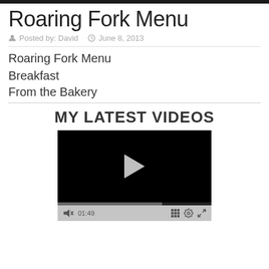[Figure (photo): Dark/black top image bar]
Roaring Fork Menu
Posted by: David   June 8, 2013
Roaring Fork Menu
Breakfast
From the Bakery
MY LATEST VIDEOS
[Figure (screenshot): Video player with black screen, play button, progress bar, and controls showing 01:49]